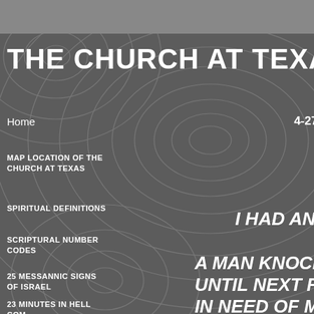THE CHURCH AT TEXAS
Home
4-27-20
MAP LOCATION OF THE CHURCH AT TEXAS
SPIRITUAL DEFINITIONS
SCRIPTURAL NUMBER CODES
25 MESSANNIC SIGNS OF ISRAEL
23 MINUTES IN HELL COM
I HAD AN INCID
A MAN KNOCKED O UNTIL NEXT FRIDA IN NEED OF M
I AM NOT A BIG
REALLY HAVE E